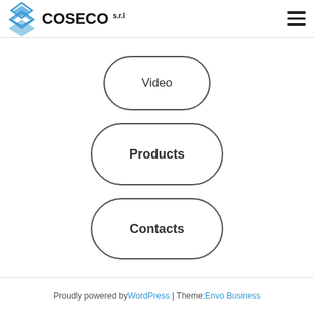COSECO s.r.l
[Figure (illustration): Navigation menu with three rounded rectangle buttons: Video, Products, Contacts, stacked vertically centered on the page]
Proudly powered by WordPress | Theme: Envo Business